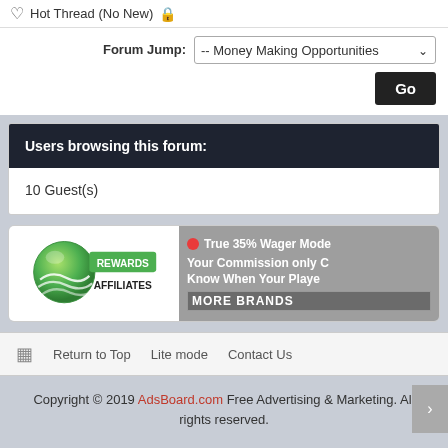Hot Thread (No New) 🔒
Forum Jump: -- Money Making Opportunities
Users browsing this forum:
10 Guest(s)
[Figure (illustration): Rewards Affiliates banner ad with green globe logo on white background left half, and grey right half with red dot, text: True 35% Wager Mode Your Commission only C Know When Your Playe MORE BRANDS]
Return to Top   Lite mode   Contact Us
Copyright © 2019 AdsBoard.com Free Advertising & Marketing. All rights reserved.